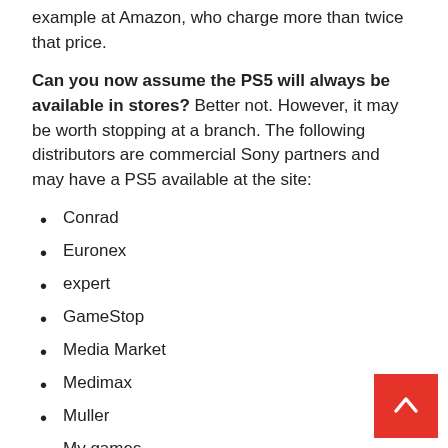example at Amazon, who charge more than twice that price.
Can you now assume the PS5 will always be available in stores? Better not. However, it may be worth stopping at a branch. The following distributors are commercial Sony partners and may have a PS5 available at the site:
Conrad
Euronex
expert
GameStop
Media Market
Medimax
Muller
My games
Otto